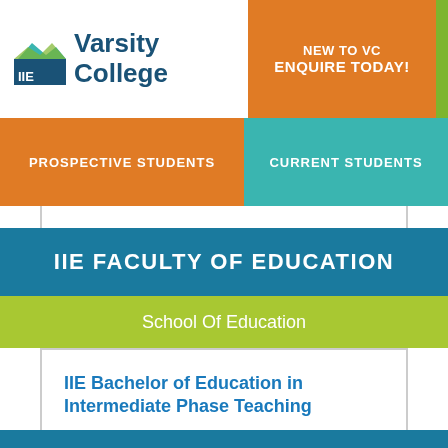[Figure (logo): IIE Varsity College logo with mountain/wave graphic]
NEW TO VC
ENQUIRE TODAY!
PROSPECTIVE STUDENTS
CURRENT STUDENTS
IIE FACULTY OF EDUCATION
School Of Education
IIE Bachelor of Education in Intermediate Phase Teaching
FULL TIME